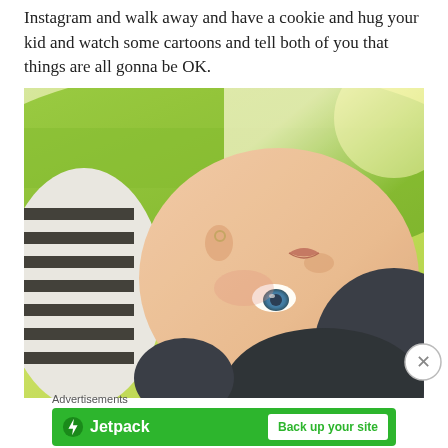Instagram and walk away and have a cookie and hug your kid and watch some cartoons and tell both of you that things are all gonna be OK.
[Figure (photo): A person lying on grass, photographed from above at an angle. The person has blue eyes and dark hair, wearing a black and white striped top. The photo has a warm, slightly overexposed sunlit tone with green grass visible in the background.]
Advertisements
[Figure (logo): Jetpack advertisement banner with green background. Left side shows the Jetpack logo (lightning bolt icon) and 'Jetpack' text in white. Right side has a white button with green text reading 'Back up your site'.]